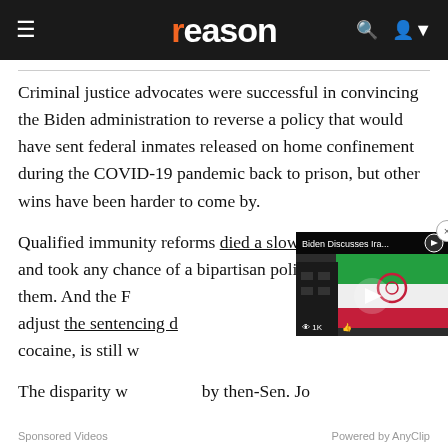reason
Criminal justice advocates were successful in convincing the Biden administration to reverse a policy that would have sent federal inmates released on home confinement during the COVID-19 pandemic back to prison, but other wins have been harder to come by.
Qualified immunity reforms died a slow death in Congress and took any chance of a bipartisan policing bill with them. And the FIRST STEP Act, which would finally adjust the sentencing disparity between crack and powder cocaine, is still waiting on action.
The disparity was created by then-Sen. Jo...
[Figure (screenshot): Video overlay showing 'Biden Discusses Ira...' with Iranian flag thumbnail, 1K views, play button]
Sponsored Videos   Powered by AnyClip